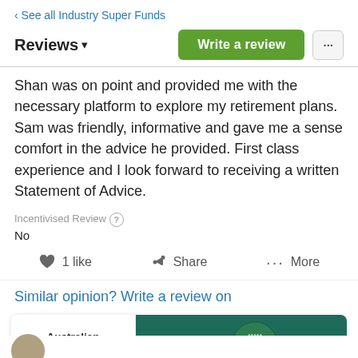‹ See all Industry Super Funds
Reviews ▾
Shan was on point and provided me with the necessary platform to explore my retirement plans. Sam was friendly, informative and gave me a sense comfort in the advice he provided. First class experience and I look forward to receiving a written Statement of Advice.
Incentivised Review ?
No
1 like   Share   ··· More
Similar opinion? Write a review on
[Figure (logo): Australian Ethical and Finder logos in an advertisement banner with dark teal background]